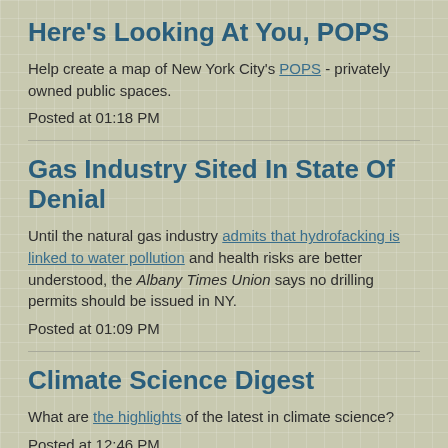Here's Looking At You, POPS
Help create a map of New York City's POPS - privately owned public spaces.
Posted at 01:18 PM
Gas Industry Sited In State Of Denial
Until the natural gas industry admits that hydrofacking is linked to water pollution and health risks are better understood, the Albany Times Union says no drilling permits should be issued in NY.
Posted at 01:09 PM
Climate Science Digest
What are the highlights of the latest in climate science?
Posted at 12:46 PM
China v Apple